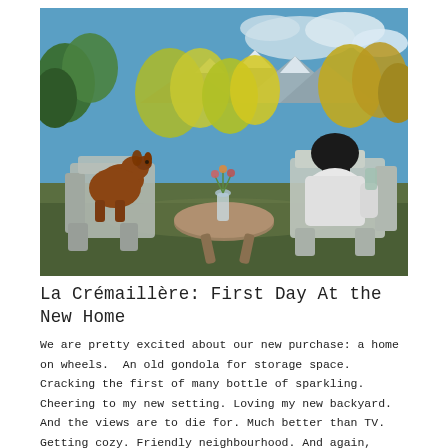[Figure (photo): Outdoor scene with two Adirondack chairs and a round wooden table on a patio. A brown dog sits in the left chair. A person in a white hoodie sits in the right chair holding a drink. A glass vase with flowers is on the table. Background shows autumn trees with yellow and green foliage, mountains, and a blue sky with clouds.]
La Crémaillère: First Day At the New Home
We are pretty excited about our new purchase: a home on wheels.  An old gondola for storage space.  Cracking the first of many bottle of sparkling. Cheering to my new setting. Loving my new backyard. And the views are to die for. Much better than TV. Getting cozy. Friendly neighbourhood. And again, can't beat